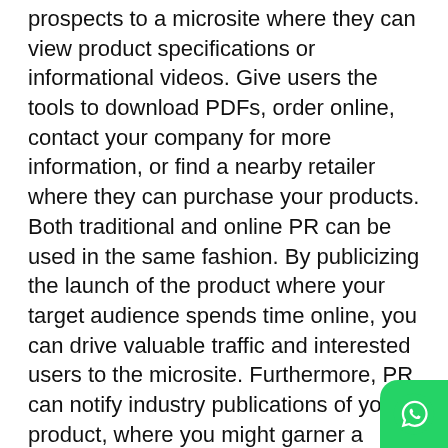prospects to a microsite where they can view product specifications or informational videos. Give users the tools to download PDFs, order online, contact your company for more information, or find a nearby retailer where they can purchase your products. Both traditional and online PR can be used in the same fashion. By publicizing the launch of the product where your target audience spends time online, you can drive valuable traffic and interested users to the microsite. Furthermore, PR can notify industry publications of your product, where you might garner a review.
[Figure (screenshot): Cookie consent overlay with dark background. Text: 'This website uses cookies and asks your personal data to enhance your browsing experience.' Two buttons: 'OK, I AGREE' (purple) and 'PRIVACY POLICY' (outlined). WhatsApp icon visible in bottom right corner.]